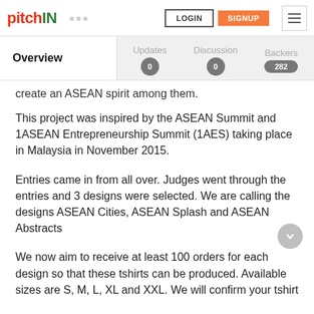pitchIN — LOGIN | SIGNUP
Overview | Updates 0 | Discussion 0 | Backers 282
create an ASEAN spirit among them.
This project was inspired by the ASEAN Summit and 1ASEAN Entrepreneurship Summit (1AES) taking place in Malaysia in November 2015.
Entries came in from all over. Judges went through the entries and 3 designs were selected. We are calling the designs ASEAN Cities, ASEAN Splash and ASEAN Abstracts
We now aim to receive at least 100 orders for each design so that these tshirts can be produced. Available sizes are S, M, L, XL and XXL. We will confirm your tshirt